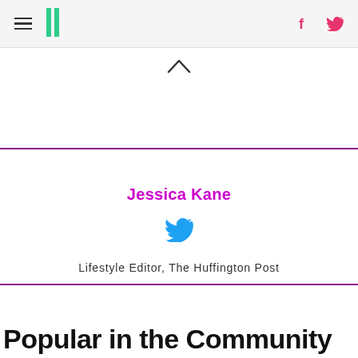HuffPost navigation bar with hamburger menu, HuffPost logo, and social icons (Facebook, Twitter)
[Figure (other): Chevron/caret up arrow symbol in dark color]
Jessica Kane
[Figure (other): Twitter bird icon in cyan/blue color]
Lifestyle Editor, The Huffington Post
Popular in the Community